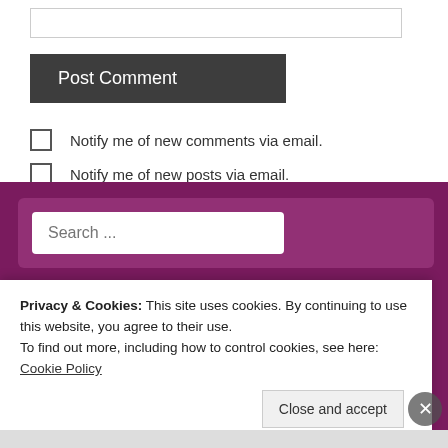[Figure (screenshot): Text input box at top of comment form]
Post Comment
Notify me of new comments via email.
Notify me of new posts via email.
[Figure (screenshot): Purple footer background with search input field showing placeholder text 'Search ...']
Privacy & Cookies: This site uses cookies. By continuing to use this website, you agree to their use.
To find out more, including how to control cookies, see here: Cookie Policy
Close and accept